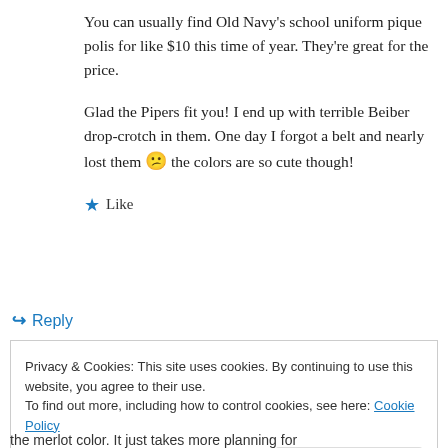You can usually find Old Navy’s school uniform pique polis for like $10 this time of year. They’re great for the price.
Glad the Pipers fit you! I end up with terrible Beiber drop-crotch in them. One day I forgot a belt and nearly lost them 😕 the colors are so cute though!
★ Like
↪ Reply
Privacy & Cookies: This site uses cookies. By continuing to use this website, you agree to their use.
To find out more, including how to control cookies, see here: Cookie Policy
the merlot color. It just takes more planning for